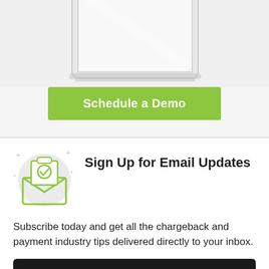[Figure (illustration): Partial view of a tablet/laptop device at the top of the page]
Schedule a Demo
Sign Up for Email Updates
Subscribe today and get all the chargeback and payment industry tips delivered directly to your inbox.
Subscribe now